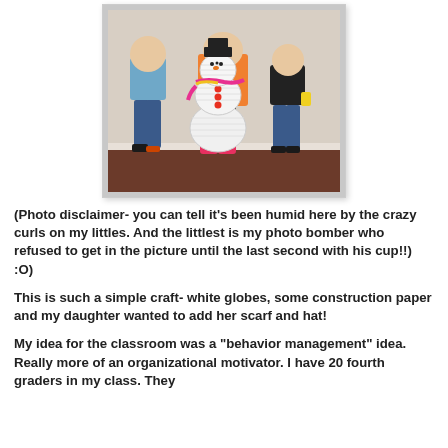[Figure (photo): Three children standing in front of a homemade paper lantern snowman craft. Two boys and a girl (partially hidden behind the snowman). The snowman is made of white paper globe lanterns stacked, decorated with colorful circles, a rainbow scarf and hat. One boy holds a cup.]
(Photo disclaimer- you can tell it's been humid here by the crazy curls on my littles.  And the littlest is my photo bomber who refused to get in the picture until the last second with his cup!!)  :O)
This is such a simple craft- white globes, some construction paper and my daughter wanted to add her scarf and hat!
My idea for the classroom was a "behavior management" idea.  Really more of an organizational motivator.  I have 20 fourth graders in my class.  They